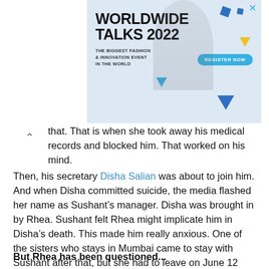[Figure (other): Advertisement banner for Worldwide Talks 2022 - The Biggest Fashion & Innovation Event in the World with Register Now button]
that. That is when she took away his medical records and blocked him. That worked on his mind.
Then, his secretary Disha Salian was about to join him. And when Disha committed suicide, the media flashed her name as Sushant's manager. Disha was brought in by Rhea. Sushant felt Rhea might implicate him in Disha's death. This made him really anxious. One of the sisters who stays in Mumbai came to stay with Sushant after that, but she had to leave on June 12 because she has a school-going daughter. If these people are not to be questioned, then what's the Mumbai Police been doing?
But Rhea has been questioned...